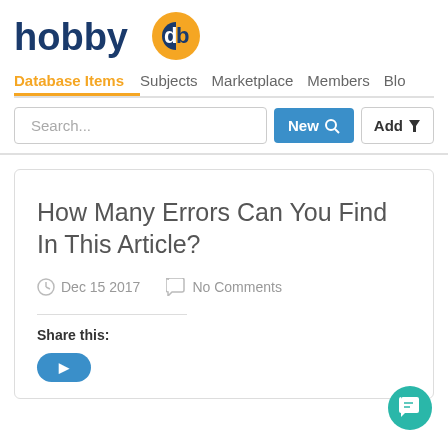[Figure (logo): hobbydb logo with blue text and orange circle with 'db' letters]
Database Items  Subjects  Marketplace  Members  Blo...
[Figure (screenshot): Search bar with 'Search...' placeholder, 'New' button in blue, 'Add' button with filter icon]
How Many Errors Can You Find In This Article?
Dec 15 2017   No Comments
Share this: